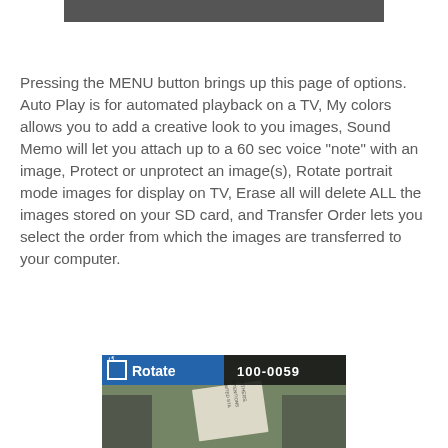[Figure (screenshot): Dark gray/black horizontal bar at the top of the page, representing a camera menu screen header.]
Pressing the MENU button brings up this page of options. Auto Play is for automated playback on a TV, My colors allows you to add a creative look to you images, Sound Memo will let you attach up to a 60 sec voice "note" with an image, Protect or unprotect an image(s), Rotate portrait mode images for display on TV, Erase all will delete ALL the images stored on your SD card, and Transfer Order lets you select the order from which the images are transferred to your computer.
[Figure (screenshot): Camera LCD screen showing the Rotate function menu option with a blue label reading 'Rotate' on the left and '100-0059' file number on the right, with a rotated image of a gravestone or monument below.]